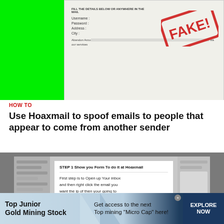[Figure (screenshot): Top section showing a green background on the left and a phishing/fake form on the right with a large red FAKE! stamp overlay]
HOW TO
Use Hoaxmail to spoof emails to people that appear to come from another sender
[Figure (screenshot): Screenshot of an email client showing inbox sidebar and an open email with instructions about opening inbox, right-clicking an email and selecting View source]
[Figure (infographic): Advertisement banner: Top Junior Gold Mining Stock - Get access to the next Top mining Micro Cap here! - EXPLORE NOW]